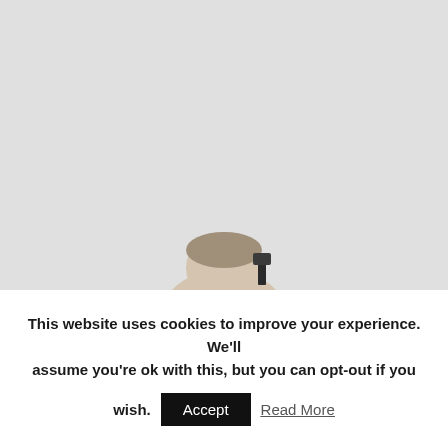[Figure (photo): Large light gray background photo area with a partial view of a person's head (man with short hair) visible at the bottom center, along with what appears to be a microphone or flag object to the right of his head.]
This website uses cookies to improve your experience. We'll assume you're ok with this, but you can opt-out if you wish. Accept Read More